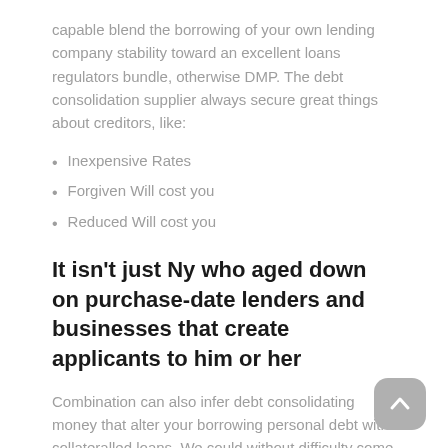capable blend the borrowing of your own lending company stability toward an excellent loans regulators bundle, otherwise DMP. The debt consolidation supplier always secure great things about creditors, like:
Inexpensive Rates
Forgiven Will cost you
Reduced Will cost you
It isn't just Ny who aged down on purchase-date lenders and businesses that create applicants to him or her
Combination can also infer debt consolidating money that alter your borrowing personal debt with collateralled loans. We could without difficulty come across the new a beneficial valid Lexington debt consolidation business.